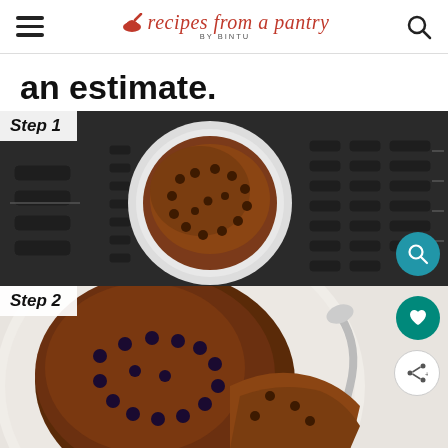recipes from a pantry BY BINTU
an estimate.
[Figure (photo): Step 1: Top-down view of a chocolate mug cake with chocolate chips in a white ramekin, placed on a dark air fryer basket/rack]
[Figure (photo): Step 2: Close-up of a chocolate mug cake with blueberries/chocolate chips, partially scooped with a spoon, on a white plate]